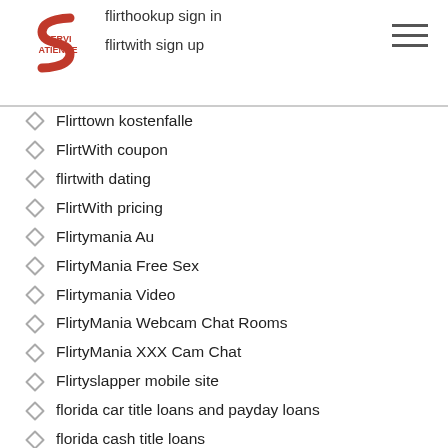flirthookup sign in | flirtwith sign up
Flirttown kostenfalle
FlirtWith coupon
flirtwith dating
FlirtWith pricing
Flirtymania Au
FlirtyMania Free Sex
Flirtymania Video
FlirtyMania Webcam Chat Rooms
FlirtyMania XXX Cam Chat
Flirtyslapper mobile site
florida car title loans and payday loans
florida cash title loans
Florida Payday Loans Online
Florida Personal Loans
Foot Fetish Dating site
Foot Fetish Live Porn Chat